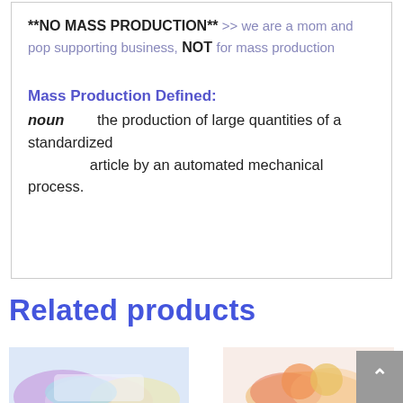**NO MASS PRODUCTION** >> we are a mom and pop supporting business, NOT for mass production
Mass Production Defined:
noun   the production of large quantities of a standardized article by an automated mechanical process.
Related products
[Figure (photo): Product image on the left showing colorful items]
[Figure (photo): Product image on the right showing colorful items]